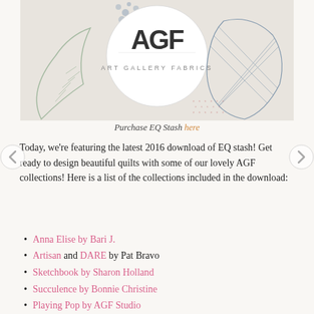[Figure (illustration): Art Gallery Fabrics branding image showing decorative fabric patterns with leaf and botanical designs, with the AGF logo circle in the center.]
Purchase EQ Stash here
Today, we're featuring the latest 2016 download of EQ stash! Get ready to design beautiful quilts with some of our lovely AGF collections! Here is a list of the collections included in the download:
Anna Elise by Bari J.
Artisan and DARE by Pat Bravo
Sketchbook by Sharon Holland
Succulence by Bonnie Christine
Playing Pop by AGF Studio
Imprint by Katarina Roccella
For those of you who can't wait to sew a denim quilt, The Electric Quilt Company has shared a free download of The Denim Studio (Denim Prints only) just for you! Simply follow the directions below to install the extension into EQ7.
Download the .fab file